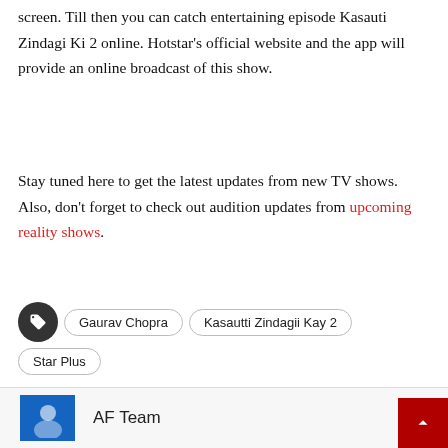screen. Till then you can catch entertaining episode Kasauti Zindagi Ki 2 online. Hotstar's official website and the app will provide an online broadcast of this show.
Stay tuned here to get the latest updates from new TV shows. Also, don't forget to check out audition updates from upcoming reality shows.
Tags: Gaurav Chopra, Kasautti Zindagii Kay 2, Mr. Bajaj, Star Plus
[Figure (infographic): Share button with social media icons: Facebook, Messenger, Telegram, WhatsApp, Twitter, Email, Pinterest]
AF Team